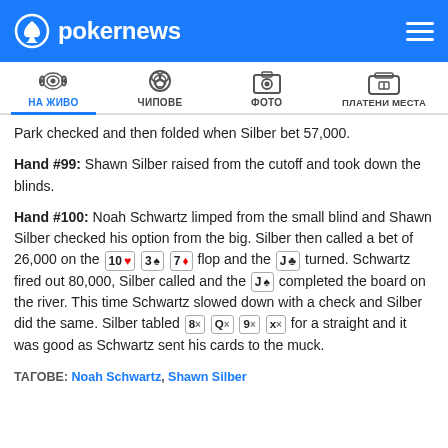pokernews [logo] [hamburger menu]
[Figure (screenshot): Navigation bar with icons: НА ЖИВО (active, radio waves icon), ЧИПОВЕ (poker chips icon), ФОТО (photo icon), ПЛАТЕНИ МЕСТА (wallet icon)]
Park checked and then folded when Silber bet 57,000.
Hand #99: Shawn Silber raised from the cutoff and took down the blinds.
Hand #100: Noah Schwartz limped from the small blind and Shawn Silber checked his option from the big. Silber then called a bet of 26,000 on the 10♥ 3♠ 7♦ flop and the J♣ turned. Schwartz fired out 80,000, Silber called and the J♠ completed the board on the river. This time Schwartz slowed down with a check and Silber did the same. Silber tabled 8x Qx 9x Xx for a straight and it was good as Schwartz sent his cards to the muck.
ТАГОВЕ: Noah Schwartz, Shawn Silber